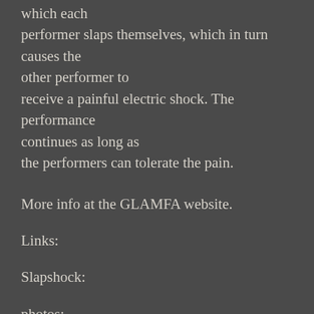which each performer slaps themselves, which in turn causes the other performer to receive a painful electric shock. The performance continues as long as the performers can tolerate the pain.
More info at the GLAMFA website.
Links:
Slapshock:
photos:
http://www.flickr.com/photos/lotu5/sets/72157620312879150/
Technsexual: